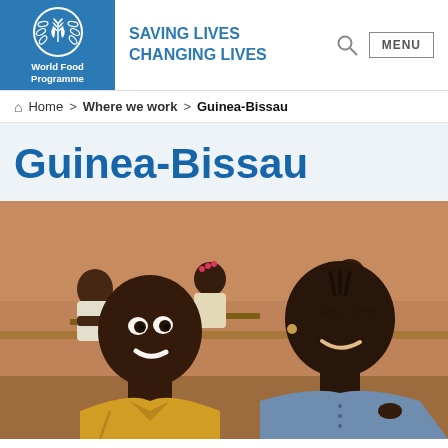WFP World Food Programme — SAVING LIVES CHANGING LIVES
Home > Where we work > Guinea-Bissau
Guinea-Bissau
[Figure (photo): Two children smiling in a classroom in Guinea-Bissau; a boy in a yellow shirt in the foreground and a girl in a blue sleeveless top, with other students seated at wooden desks in the background.]